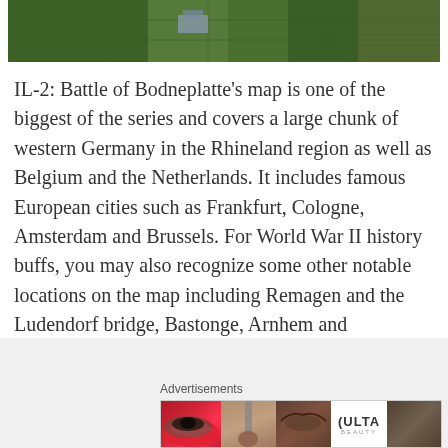[Figure (photo): Aerial photograph of farmland/fields from above, showing green agricultural plots]
IL-2: Battle of Bodneplatte’s map is one of the biggest of the series and covers a large chunk of western Germany in the Rhineland region as well as Belgium and the Netherlands. It includes famous European cities such as Frankfurt, Cologne, Amsterdam and Brussels. For World War II history buffs, you may also recognize some other notable locations on the map including Remagen and the Ludendorf bridge, Bastonge, Arnhem and Eindhoven to name just a few.
Advertisements